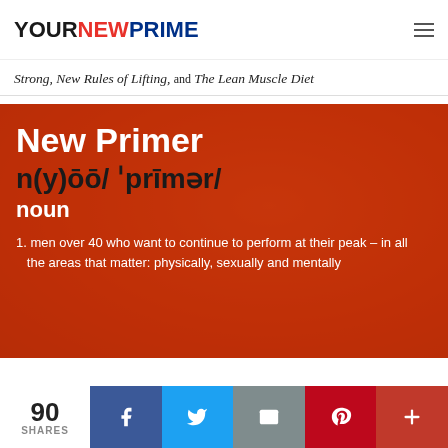YOURNEWPRIME
Strong, New Rules of Lifting, and The Lean Muscle Diet
[Figure (photo): Red-tinted hero image with a person in an outdoor field setting, overlaid with dictionary-style text defining 'New Primer']
New Primer
n(y)ōō/ ˈprīmər/
noun
1. men over 40 who want to continue to perform at their peak – in all the areas that matter: physically, sexually and mentally
90 SHARES  Facebook  Twitter  Email  Pinterest  More